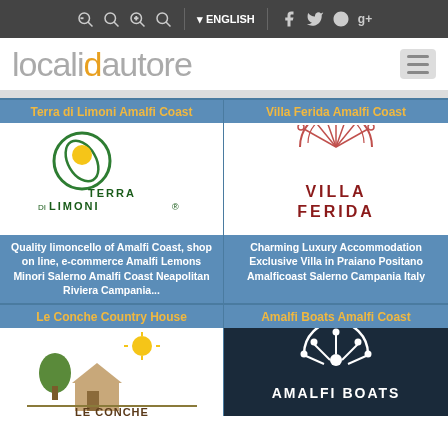Toolbar with search, language (ENGLISH), and social icons (Facebook, Twitter, Google+)
localidautore
Terra di Limoni Amalfi Coast
[Figure (logo): Terra di Limoni logo with green leaf and yellow lemon, text TERRA DI LIMONI]
Quality limoncello of Amalfi Coast, shop on line, e-commerce Amalfi Lemons Minori Salerno Amalfi Coast Neapolitan Riviera Campania...
Villa Ferida Amalfi Coast
[Figure (logo): Villa Ferida logo with peacock fan/shell design, text VILLA FERIDA]
Charming Luxury Accommodation Exclusive Villa in Praiano Positano Amalficoast Salerno Campania Italy
Le Conche Country House
[Figure (logo): Le Conche Country House logo with sun and countryside scene, text LE CONCHE]
Amalfi Boats Amalfi Coast
[Figure (logo): Amalfi Boats logo on dark background, text AMALFI BOATS with steering wheel graphic]